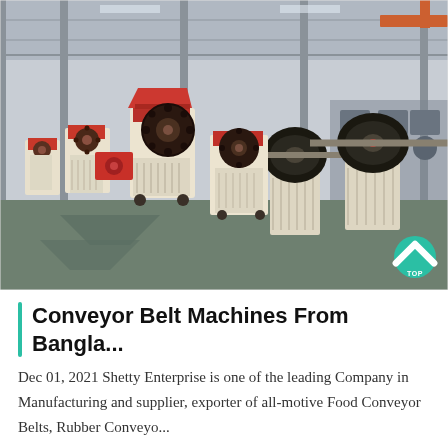[Figure (photo): Industrial factory floor showing rows of jaw crusher machines in cream/beige color with red and black components, arranged in a large warehouse with steel frame structure and high ceiling. Additional roller/pulley assemblies visible in right foreground.]
Conveyor Belt Machines From Bangla...
Dec 01, 2021 Shetty Enterprise is one of the leading Company in Manufacturing and supplier, exporter of all-motive Food Conveyor Belts, Rubber Conveyo...